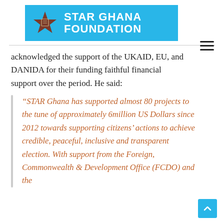[Figure (logo): Star Ghana Foundation logo: brown star icon on cyan/blue background with white bold text 'STAR GHANA FOUNDATION']
acknowledged the support of the UKAID, EU, and DANIDA for their funding faithful financial support over the period. He said:
“STAR Ghana has supported almost 80 projects to the tune of approximately 6million US Dollars since 2012 towards supporting citizens’ actions to achieve credible, peaceful, inclusive and transparent election. With support from the Foreign, Commonwealth & Development Office (FCDO) and the